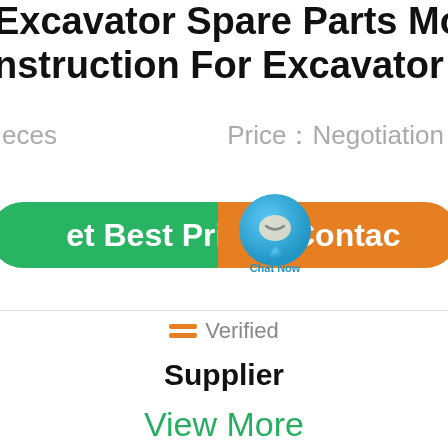Excavator Spare Parts Motor 3 nstruction For Excavator Machin
eces   Price：Negotiation
et Best Price   Contact
[Figure (illustration): Chat Now button overlay with blue speech bubble icon]
Verified
Supplier
View More